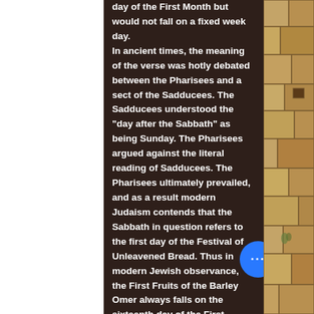day of the First Month but would not fall on a fixed week day. In ancient times, the meaning of the verse was hotly debated between the Pharisees and a sect of the Sadducees. The Sadducees understood the "day after the Sabbath" as being Sunday. The Pharisees argued against the literal reading of Sadducees. The Pharisees ultimately prevailed, and as a result modern Judaism contends that the Sabbath in question refers to the first day of the Festival of Unleavened Bread. Thus in modern Jewish observance, the First Fruits of the Barley Omer always falls on the sixteenth day of the First Month, second day of Unleavened Bread.)
[Figure (photo): Stone wall texture on the right side of the page, showing ancient sandstone blocks with mortar joints and some vegetation growing between the stones.]